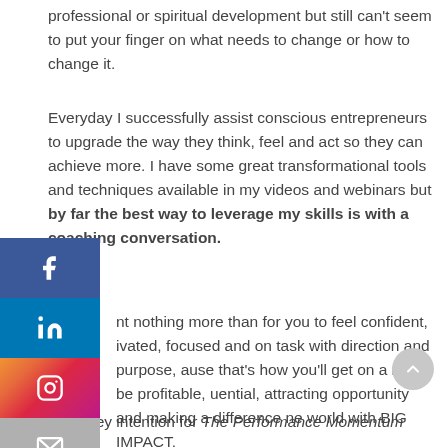professional or spiritual development but still can't seem to put your finger on what needs to change or how to change it.
Everyday I successfully assist conscious entrepreneurs to upgrade the way they think, feel and act so they can achieve more. I have some great transformational tools and techniques available in my videos and webinars but by far the best way to leverage my skills is with a coaching conversation.
nt nothing more than for you to feel confident, ivated, focused and on task with direction and purpose, ause that's how you'll get on a roll to be profitable, uential, attracting opportunity and making a difference ne world with BIG IMPACT.
That's the key intention for The Performance Momentum